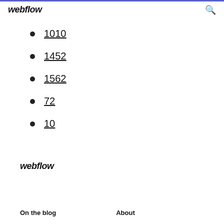webflow
1010
1452
1562
72
10
webflow
On the blog   About